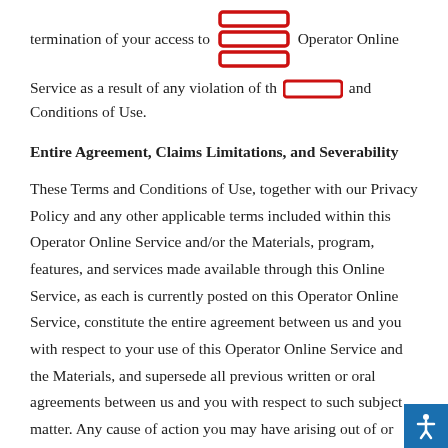termination of your access to [REDACTED] Operator Online Service as a result of any violation of the [REDACTED] and Conditions of Use.
Entire Agreement, Claims Limitations, and Severability
These Terms and Conditions of Use, together with our Privacy Policy and any other applicable terms included within this Operator Online Service and/or the Materials, program, features, and services made available through this Online Service, as each is currently posted on this Operator Online Service, constitute the entire agreement between us and you with respect to your use of this Operator Online Service and the Materials, and supersede all previous written or oral agreements between us and you with respect to such subject matter. Any cause of action you may have arising out of or relating in any way to this Operator Online Service must be commenced within one (1) year after the claim or cause of action arises. If, for any reason, a court of competent jurisdiction finally determines any provision of these Terms